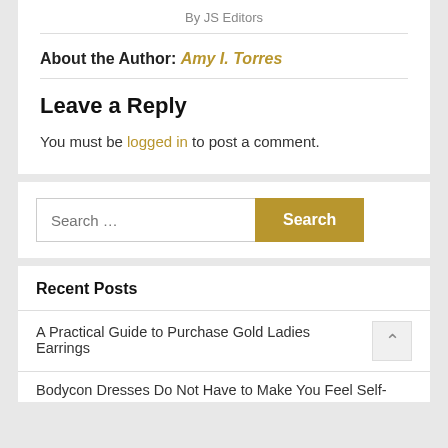By JS Editors
About the Author: Amy I. Torres
Leave a Reply
You must be logged in to post a comment.
Search ...
Recent Posts
A Practical Guide to Purchase Gold Ladies Earrings
Bodycon Dresses Do Not Have to Make You Feel Self-